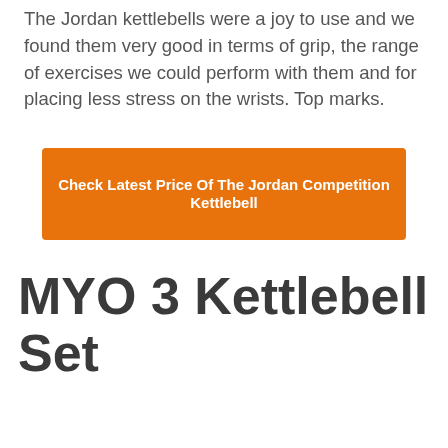The Jordan kettlebells were a joy to use and we found them very good in terms of grip, the range of exercises we could perform with them and for placing less stress on the wrists. Top marks.
Check Latest Price Of The Jordan Competition Kettlebell
MYO 3 Kettlebell Set